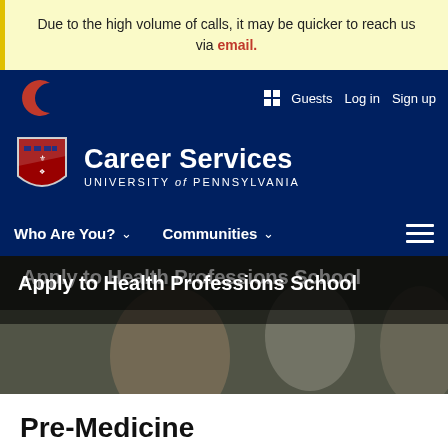Due to the high volume of calls, it may be quicker to reach us via email.
[Figure (screenshot): University of Pennsylvania Career Services website header with navy blue navigation bar, Penn shield logo, Career Services wordmark, Who Are You? and Communities navigation items, and hamburger menu icon.]
[Figure (photo): Students in medical setting wearing masks, one pointing at a screen or board.]
Apply to Health Professions School
Pre-Medicine
Preparing for a career in medicine